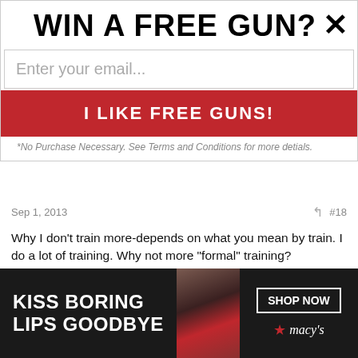WIN A FREE GUN?×
Enter your email...
I LIKE FREE GUNS!
*No Purchase Necessary. See Terms and Conditions for more detials.
Sep 1, 2013  #18
Why I don't train more-depends on what you mean by train. I do a lot of training. Why not more "formal" training?
-time
-time x availability (distance) interaction
kelcarry
[Figure (advertisement): Macy's lip product advertisement with text 'KISS BORING LIPS GOODBYE', center image of woman's lips, and 'SHOP NOW' button with Macy's star logo]